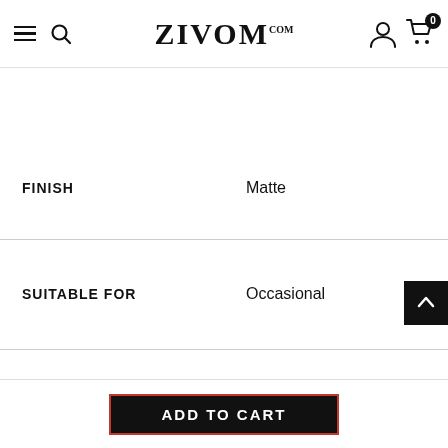ZIVOM.com — navigation bar with hamburger, search, logo, account, and cart (0 items)
| Attribute | Value |
| --- | --- |
| FINISH | Matte |
| SUITABLE FOR | Occasional |
| STYLE | Traditional |
| SIZE | Large |
ADD TO CART